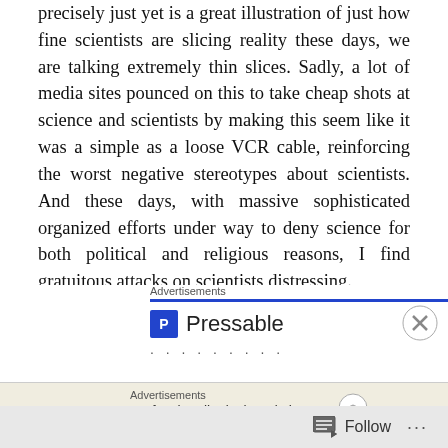precisely just yet is a great illustration of just how fine scientists are slicing reality these days, we are talking extremely thin slices. Sadly, a lot of media sites pounced on this to take cheap shots at science and scientists by making this seem like it was a simple as a loose VCR cable, reinforcing the worst negative stereotypes about scientists. And these days, with massive sophisticated organized efforts under way to deny science for both political and religious reasons, I find gratuitous attacks on scientists distressing.
[Figure (screenshot): Advertisements section with Pressable logo and blue divider bar, followed by dots. Below is another Advertisements bar with 'Professionally designed sites' text on a tan/beige background. A close (X) button appears on the right. A Follow bar appears at the bottom with follow icon and ellipsis menu.]